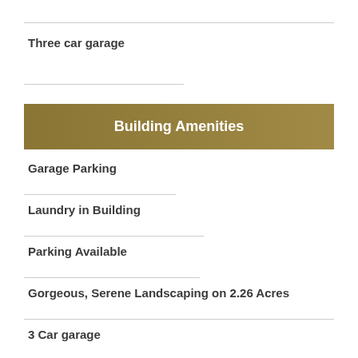Three car garage
Building Amenities
Garage Parking
Laundry in Building
Parking Available
Gorgeous, Serene Landscaping on 2.26 Acres
3 Car garage